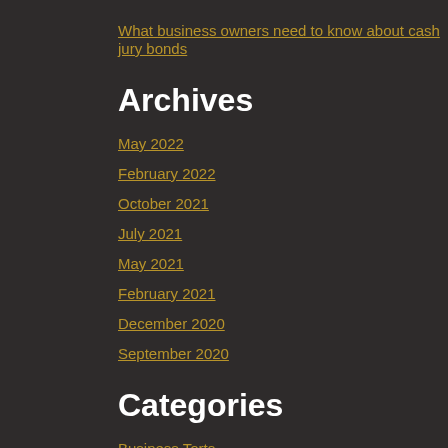What business owners need to know about cash jury bonds
Archives
May 2022
February 2022
October 2021
July 2021
May 2021
February 2021
December 2020
September 2020
Categories
Business Torts
Civil Law
Firm News